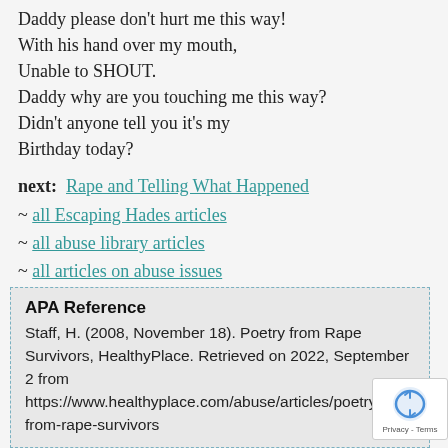Daddy please don't hurt me this way!
With his hand over my mouth,
Unable to SHOUT.
Daddy why are you touching me this way?
Didn't anyone tell you it's my
Birthday today?
next: Rape and Telling What Happened
~ all Escaping Hades articles
~ all abuse library articles
~ all articles on abuse issues
APA Reference
Staff, H. (2008, November 18). Poetry from Rape Survivors, HealthyPlace. Retrieved on 2022, September 2 from https://www.healthyplace.com/abuse/articles/poetry-from-rape-survivors